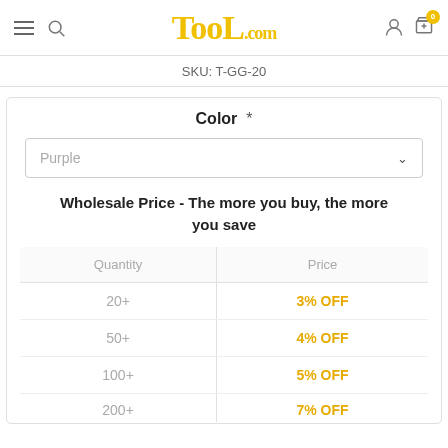TooL.com
SKU: T-GG-20
Color *
Purple
Wholesale Price - The more you buy, the more you save
| Quantity | Price |
| --- | --- |
| 20+ | 3% OFF |
| 50+ | 4% OFF |
| 100+ | 5% OFF |
| 200+ | 7% OFF |